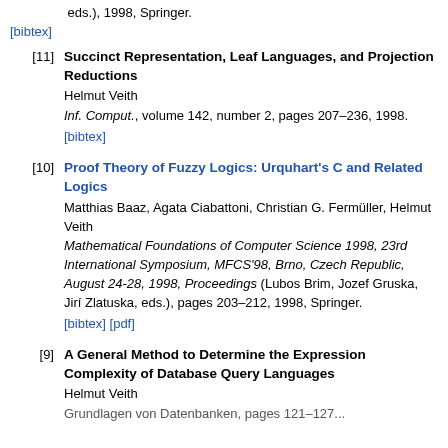eds.), 1998, Springer. [bibtex]
[11] Succinct Representation, Leaf Languages, and Projection Reductions. Helmut Veith. Inf. Comput., volume 142, number 2, pages 207–236, 1998. [bibtex]
[10] Proof Theory of Fuzzy Logics: Urquhart's C and Related Logics. Matthias Baaz, Agata Ciabattoni, Christian G. Fermüller, Helmut Veith. Mathematical Foundations of Computer Science 1998, 23rd International Symposium, MFCS'98, Brno, Czech Republic, August 24-28, 1998, Proceedings (Lubos Brim, Jozef Gruska, Jirí Zlatuska, eds.), pages 203–212, 1998, Springer. [bibtex] [pdf]
[9] A General Method to Determine the Expression Complexity of Database Query Languages. Helmut Veith. Grundlagen von Datenbanken, pages 121–127...